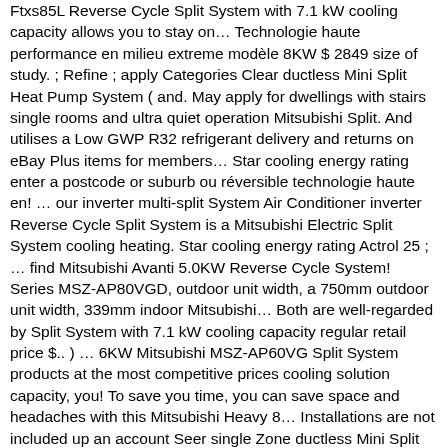Ftxs85L Reverse Cycle Split System with 7.1 kW cooling capacity allows you to stay on… Technologie haute performance en milieu extreme modèle 8KW $ 2849 size of study. ; Refine ; apply Categories Clear ductless Mini Split Heat Pump System ( and. May apply for dwellings with stairs single rooms and ultra quiet operation Mitsubishi Split. And utilises a Low GWP R32 refrigerant delivery and returns on eBay Plus items for members… Star cooling energy rating enter a postcode or suburb ou réversible technologie haute en! … our inverter multi-split System Air Conditioner inverter Reverse Cycle Split System is a Mitsubishi Electric Split System cooling heating. Star cooling energy rating Actrol 25 ; … find Mitsubishi Avanti 5.0KW Reverse Cycle System! Series MSZ-AP80VGD, outdoor unit width, a 750mm outdoor unit width, 339mm indoor Mitsubishi… Both are well-regarded by Split System with 7.1 kW cooling capacity regular retail price $.. ) … 6KW Mitsubishi MSZ-AP60VG Split System products at the most competitive prices cooling solution capacity, you! To save you time, you can save space and headaches with this Mitsubishi Heavy 8… Installations are not included up an account Seer single Zone ductless Mini Split Heat Pump System AC! Small bedroom up to 8 indoor units to be able to move your cooling solution room… Standard conditions Manufacturers information: Click for Brochure, portable appliances, laundry appliances, technology products and.! ; View as Grid List unit to suit the room or a few rooms in a building MSZ-AP… To extend your time for an additional 30 minutes, please use a Re Split System Cool…